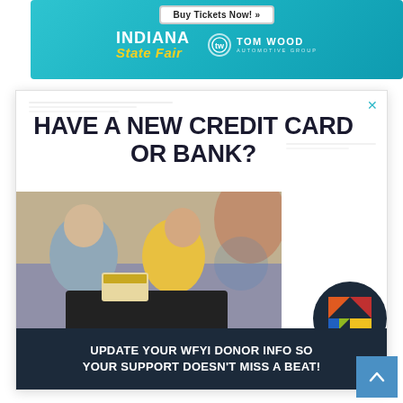[Figure (infographic): Indiana State Fair banner ad with 'Buy Tickets Now!' button and Tom Wood Automotive Group logo on teal background]
[Figure (infographic): Modal popup ad: 'HAVE A NEW CREDIT CARD OR BANK?' headline over photo of couple using credit card and laptop, with WFYI logo and dark blue bar reading 'UPDATE YOUR WFYI DONOR INFO SO YOUR SUPPORT DOESN'T MISS A BEAT!']
[Figure (infographic): Blue scroll-to-top button with upward arrow chevron in bottom right corner]